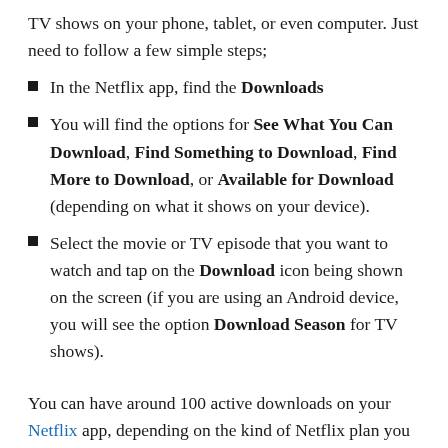TV shows on your phone, tablet, or even computer. Just need to follow a few simple steps;
In the Netflix app, find the Downloads
You will find the options for See What You Can Download, Find Something to Download, Find More to Download, or Available for Download (depending on what it shows on your device).
Select the movie or TV episode that you want to watch and tap on the Download icon being shown on the screen (if you are using an Android device, you will see the option Download Season for TV shows).
You can have around 100 active downloads on your Netflix app, depending on the kind of Netflix plan you